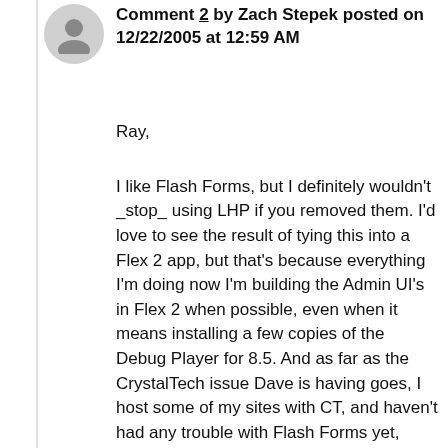Comment 2 by Zach Stepek posted on 12/22/2005 at 12:59 AM
Ray,

I like Flash Forms, but I definitely wouldn't _stop_ using LHP if you removed them. I'd love to see the result of tying this into a Flex 2 app, but that's because everything I'm doing now I'm building the Admin UI's in Flex 2 when possible, even when it means installing a few copies of the Debug Player for 8.5. And as far as the CrystalTech issue Dave is having goes, I host some of my sites with CT, and haven't had any trouble with Flash Forms yet, though I can honestly say it's been quite a while since I've tried using Flash Forms on one of their servers. I switched to HostMySite almost